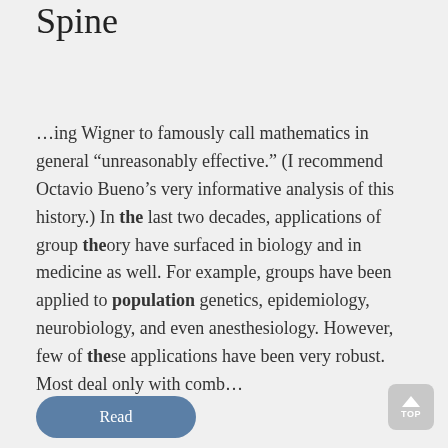Spine
...ing Wigner to famously call mathematics in general “unreasonably effective.” (I recommend Octavio Bueno’s very informative analysis of this history.) In the last two decades, applications of group theory have surfaced in biology and in medicine as well. For example, groups have been applied to population genetics, epidemiology, neurobiology, and even anesthesiology. However, few of these applications have been very robust. Most deal only with comb...